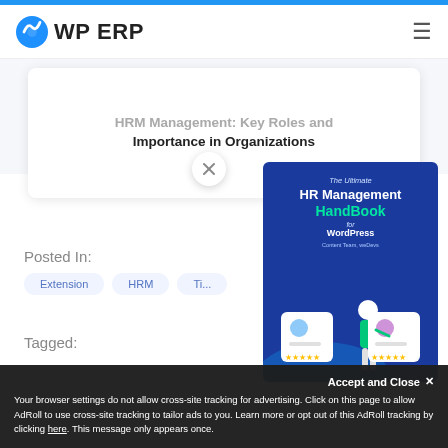WP ERP
HRM Management: Key Roles and Importance in Organizations
[Figure (illustration): Close/X button circle overlay on article card]
[Figure (illustration): The Ultimate HR Management HandBook for WordPress book cover popup with illustration of person at HR cards]
Posted In:
Extension
HRM
Ti...
Tagged:
Your browser settings do not allow cross-site tracking for advertising. Click on this page to allow AdRoll to use cross-site tracking to tailor ads to you. Learn more or opt out of this AdRoll tracking by clicking here. This message only appears once.